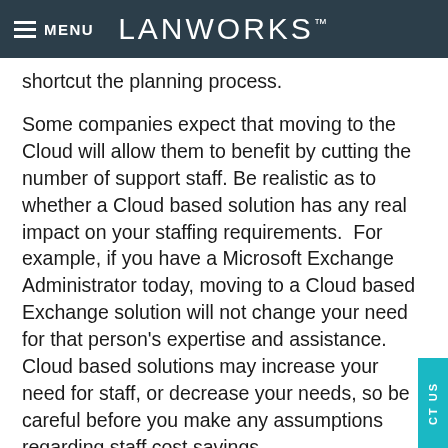MENU LANWORKS™
shortcut the planning process.
Some companies expect that moving to the Cloud will allow them to benefit by cutting the number of support staff. Be realistic as to whether a Cloud based solution has any real impact on your staffing requirements.  For example, if you have a Microsoft Exchange Administrator today, moving to a Cloud based Exchange solution will not change your need for that person's expertise and assistance.  Cloud based solutions may increase your need for staff, or decrease your needs, so be careful before you make any assumptions regarding staff cost savings.